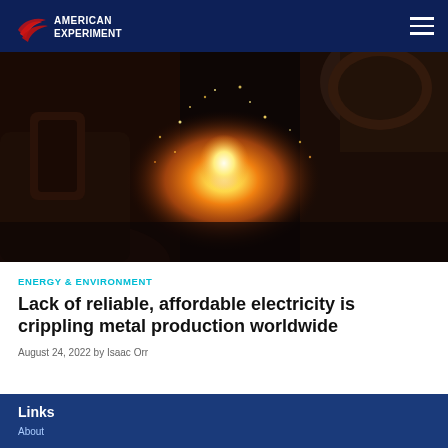American Experiment
[Figure (photo): Close-up of molten metal being poured or processed in a foundry, with intense bright orange and yellow light from the molten material and sparks flying]
ENERGY & ENVIRONMENT
Lack of reliable, affordable electricity is crippling metal production worldwide
August 24, 2022 by Isaac Orr
Links
About